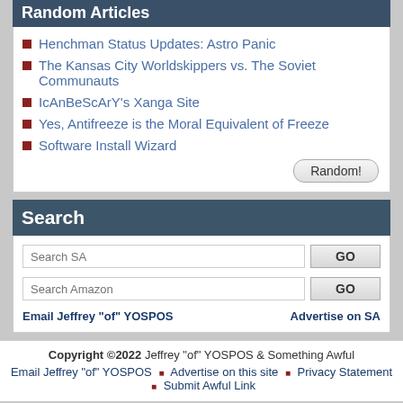Random Articles
Henchman Status Updates: Astro Panic
The Kansas City Worldskippers vs. The Soviet Communauts
IcAnBeScArY's Xanga Site
Yes, Antifreeze is the Moral Equivalent of Freeze
Software Install Wizard
Search
Search SA
Search Amazon
Email Jeffrey "of" YOSPOS
Advertise on SA
Copyright ©2022 Jeffrey "of" YOSPOS & Something Awful Email Jeffrey "of" YOSPOS • Advertise on this site • Privacy Statement • Submit Awful Link